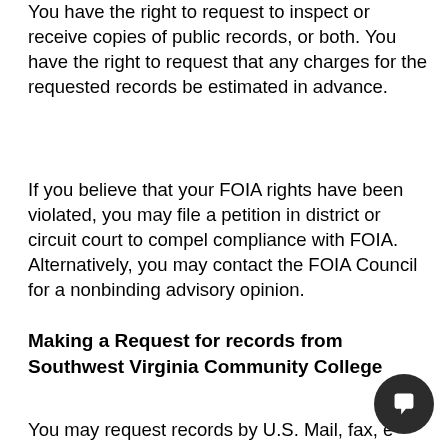You have the right to request to inspect or receive copies of public records, or both. You have the right to request that any charges for the requested records be estimated in advance.
If you believe that your FOIA rights have been violated, you may file a petition in district or circuit court to compel compliance with FOIA. Alternatively, you may contact the FOIA Council for a nonbinding advisory opinion.
Making a Request for records from Southwest Virginia Community College
You may request records by U.S. Mail, fax, e-